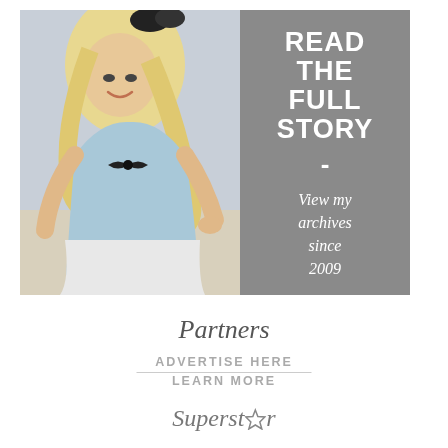[Figure (photo): Banner ad showing a smiling blonde woman in a light blue dress costume with a black bow hairpiece, standing outdoors. Right side has gray panel with text.]
READ THE FULL STORY
-
View my archives since 2009
Partners
ADVERTISE HERE
LEARN MORE
Superstar